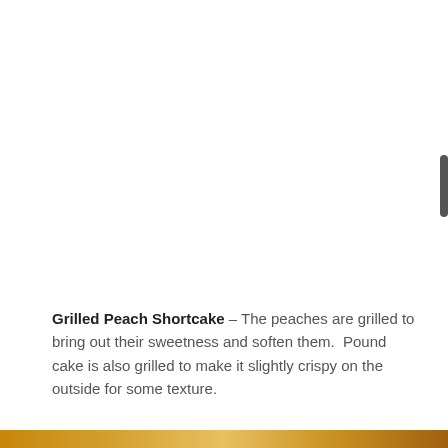Grilled Peach Shortcake – The peaches are grilled to bring out their sweetness and soften them.  Pound cake is also grilled to make it slightly crispy on the outside for some texture.